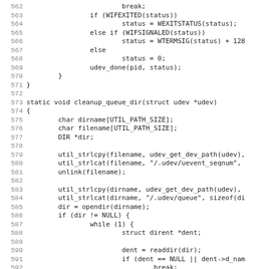[Figure (other): Source code listing (C language) with line numbers 562-594, showing code for signal handling and cleanup_queue_dir function]